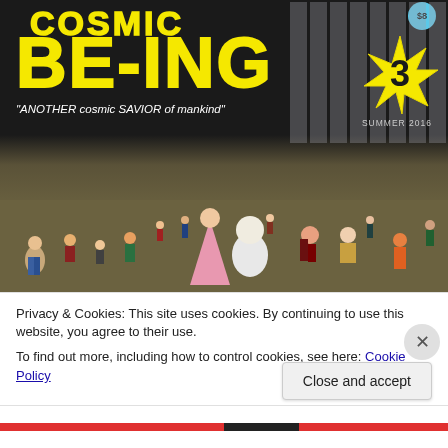[Figure (illustration): Comic book cover for 'Cosmic Be-ing #3', Summer 2016. Features large yellow hand-lettered title text 'COSMIC BE-ING' with a yellow starburst containing the number 3, on a dark background. A crowd of illustrated cartoon people stands in front of a dark building. Text reads: "ANOTHER cosmic SAVIOR of mankind" and 'SUMMER 2016'. Price badge shows $8.]
Privacy & Cookies: This site uses cookies. By continuing to use this website, you agree to their use.
To find out more, including how to control cookies, see here: Cookie Policy